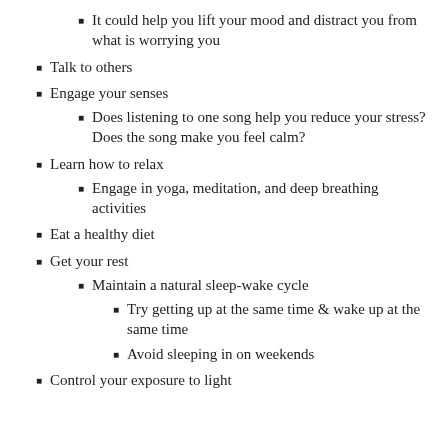It could help you lift your mood and distract you from what is worrying you
Talk to others
Engage your senses
Does listening to one song help you reduce your stress? Does the song make you feel calm?
Learn how to relax
Engage in yoga, meditation, and deep breathing activities
Eat a healthy diet
Get your rest
Maintain a natural sleep-wake cycle
Try getting up at the same time & wake up at the same time
Avoid sleeping in on weekends
Control your exposure to light